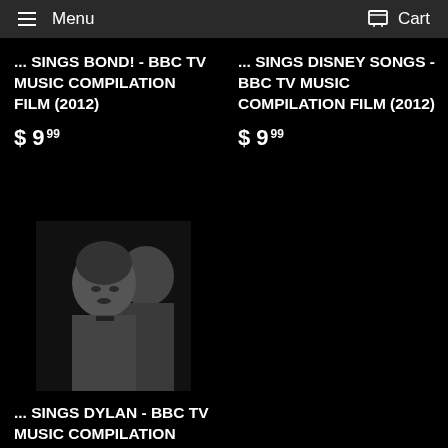Menu  Cart
... SINGS BOND! - BBC TV MUSIC COMPILATION FILM (2012)
$ 9 99
... SINGS DISNEY SONGS - BBC TV MUSIC COMPILATION FILM (2012)
$ 9 99
[Figure (photo): Black and white photo of a young male musician, partially visible, dark background]
... SINGS DYLAN - BBC TV MUSIC COMPILATION FILM